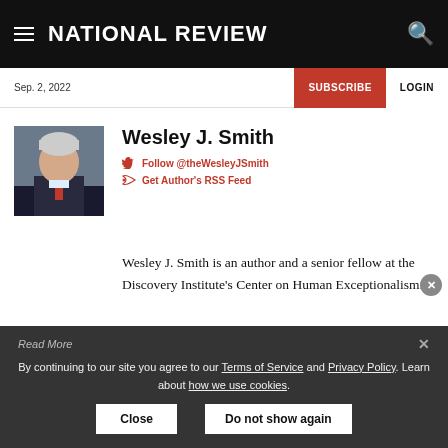NATIONAL REVIEW
Sep. 2, 2022   SUBSCRIBE   LOGIN
Wesley J. Smith
Follow @theWesleyJSmith
Get Author's RSS Feed
Wesley J. Smith is an author and a senior fellow at the Discovery Institute's Center on Human Exceptionalism.
By continuing to our site you agree to our Terms of Service and Privacy Policy. Learn about how we use cookies.